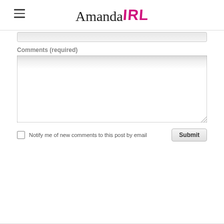Amanda IRL
Comments (required)
[Figure (screenshot): A comment form text area (large empty textarea input box)]
Notify me of new comments to this post by email
Submit